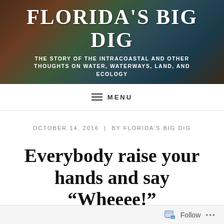FLORIDA'S BIG DIG
THE STORY OF THE INTRACOASTAL AND OTHER THOUGHTS ON WATER, WATERWAYS, LAND, AND ECOLOGY
MENU
OCTOBER 14, 2016  |  BY FLORIDA'S BIG DIG
Everybody raise your hands and say “Wheeee!”
Follow